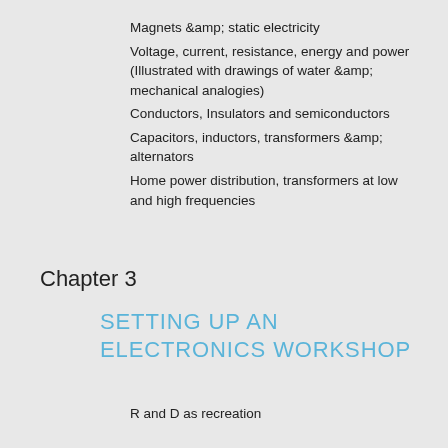Magnets & static electricity
Voltage, current, resistance, energy and power (Illustrated with drawings of water & mechanical analogies)
Conductors, Insulators and semiconductors
Capacitors, inductors, transformers & alternators
Home power distribution, transformers at low and high frequencies
Chapter 3
SETTING UP AN ELECTRONICS WORKSHOP
R and D as recreation